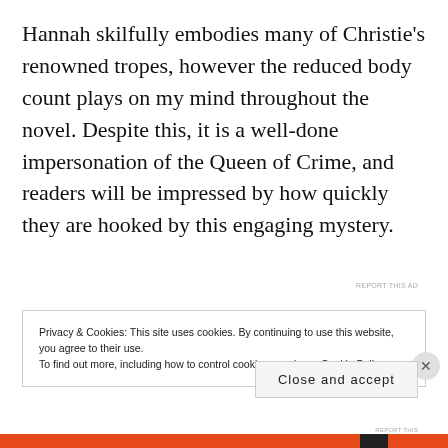Hannah skilfully embodies many of Christie's renowned tropes, however the reduced body count plays on my mind throughout the novel. Despite this, it is a well-done impersonation of the Queen of Crime, and readers will be impressed by how quickly they are hooked by this engaging mystery.
[Figure (other): Advertisement banner with image thumbnail on left and blue background extending to the right]
REPORT THIS AD
Privacy & Cookies: This site uses cookies. By continuing to use this website, you agree to their use.
To find out more, including how to control cookies, see here: Cookie Policy
Close and accept
[Figure (other): Bottom advertisement bar in red/orange with black section]
REPORT THIS